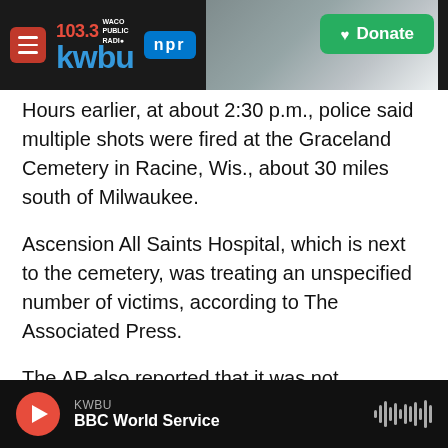[Figure (screenshot): KWBU 103.3 Waco Public Radio NPR header logo with navigation hamburger menu, station logo, NPR badge, building photo background, and green Donate button]
Hours earlier, at about 2:30 p.m., police said multiple shots were fired at the Graceland Cemetery in Racine, Wis., about 30 miles south of Milwaukee.
Ascension All Saints Hospital, which is next to the cemetery, was treating an unspecified number of victims, according to The Associated Press.
The AP also reported that it was not immediately known if any suspects were in custody.
During his nationally televised speech on Thursday,
KWBU BBC World Service